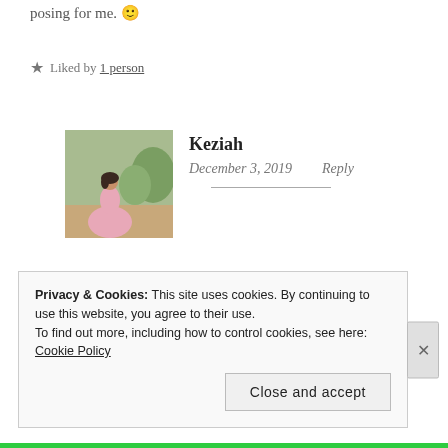posing for me. 🙂
★ Liked by 1 person
[Figure (photo): Avatar photo of Keziah, a woman in a pink flowing dress outdoors with green trees in the background]
Keziah
December 3, 2019   Reply
Awesome!!
★ Like
Privacy & Cookies: This site uses cookies. By continuing to use this website, you agree to their use.
To find out more, including how to control cookies, see here: Cookie Policy
Close and accept